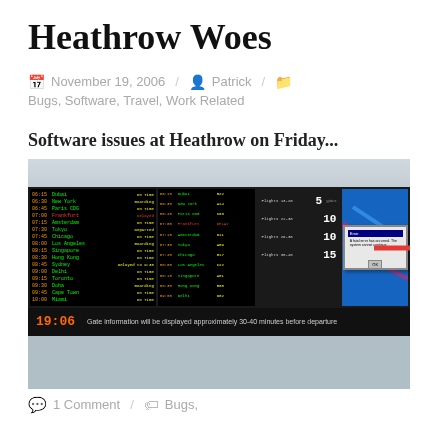Heathrow Woes
November 19, 2006  /  Patrick  /  Bugs, Software, Travel, Work Related
Software issues at Heathrow on Friday...
[Figure (photo): Photo of Heathrow airport departure board with multiple flight information screens. One screen on the far right shows a Windows error dialog box with a red arrow pointing to it. The bottom of the board shows a digital clock reading 19:06 and text: 'Gate information will be displayed approximately 30-40 minutes before departure'.]
1 Comment  /  Bugs,